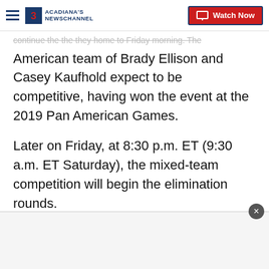Acadiana's Newschannel — Watch Now
...continue the the they home to Friday morning. The American team of Brady Ellison and Casey Kaufhold expect to be competitive, having won the event at the 2019 Pan American Games.
Later on Friday, at 8:30 p.m. ET (9:30 a.m. ET Saturday), the mixed-team competition will begin the elimination rounds.
Rowing
Rowing comeptitions on Tokyo's Sea Forwest Waterway will continue Friday with men's and